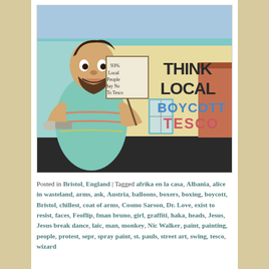[Figure (photo): Street art mural on the side of a building. A large cartoon character holds a sign reading '93% of Local People Say No To Tesco'. The building wall also reads 'THINK LOCAL BOYCOTT TESCO' in large letters. Blue sky in background.]
Posted in Bristol, England | Tagged afrika en la casa, Albania, alice in wasteland, arms, ask, Austria, balloons, boxers, boxing, boycott, Bristol, chillest, coat of arms, Cosmo Sarson, Dr. Love, exist to resist, faces, Feoflip, fman bruno, girl, graffiti, haka, heads, Jesus, Jesus break dance, laic, man, monkey, Nic Walker, paint, painting, people, protest, sepr, spray paint, st. pauls, street art, swing, tesco, wizard